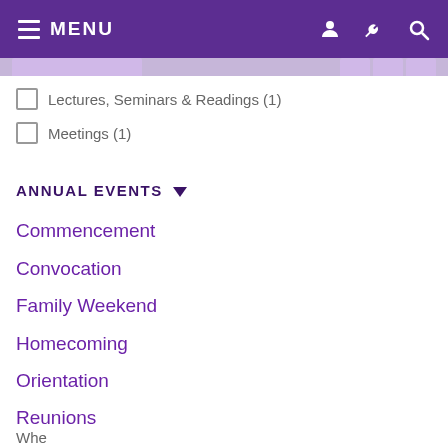MENU
Lectures, Seminars & Readings (1)
Meetings (1)
ANNUAL EVENTS
Commencement
Convocation
Family Weekend
Homecoming
Orientation
Reunions
Whe...